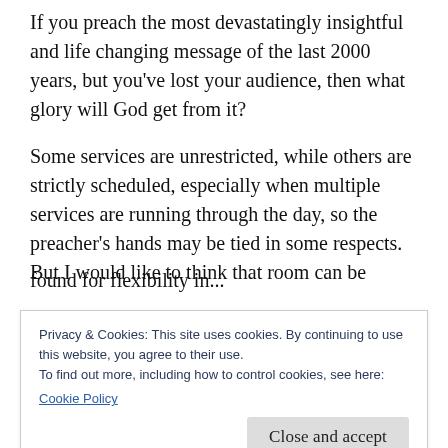If you preach the most devastatingly insightful and life changing message of the last 2000 years, but you’ve lost your audience, then what glory will God get from it?
Some services are unrestricted, while others are strictly scheduled, especially when multiple services are running through the day, so the preacher’s hands may be tied in some respects. But I would like to think that room can be found for flexibility in...
Privacy & Cookies: This site uses cookies. By continuing to use this website, you agree to their use.
To find out more, including how to control cookies, see here:
Cookie Policy
He said, and there are often layers of meaning